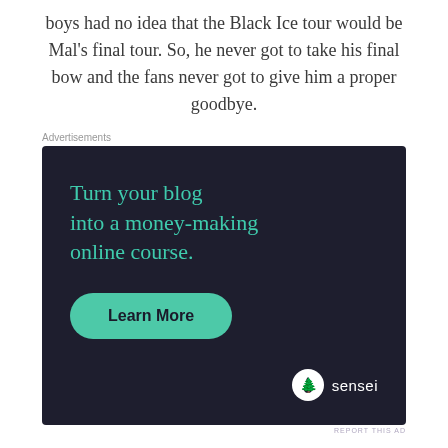boys had no idea that the Black Ice tour would be Mal's final tour. So, he never got to take his final bow and the fans never got to give him a proper goodbye.
[Figure (other): Advertisement banner for Sensei: 'Turn your blog into a money-making online course.' with a teal 'Learn More' button and Sensei logo on dark navy background.]
Not just AC/DC, though. Plenty of classic rock bands either haven't been releasing new